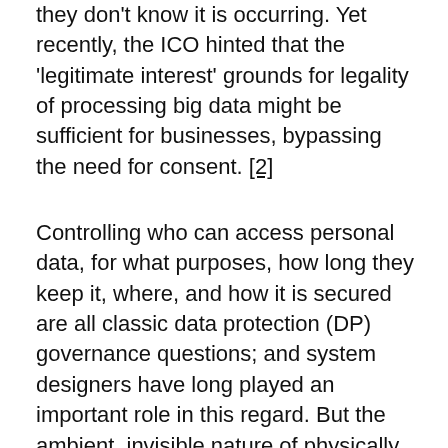they don't know it is occurring. Yet recently, the ICO hinted that the 'legitimate interest' grounds for legality of processing big data might be sufficient for businesses, bypassing the need for consent. [2]
Controlling who can access personal data, for what purposes, how long they keep it, where, and how it is secured are all classic data protection (DP) governance questions; and system designers have long played an important role in this regard. But the ambient, invisible nature of physically embedded technologies has a different character to web based systems. Minimal user awareness, and insufficient transparency of the technical functions are two issues. As more technologies